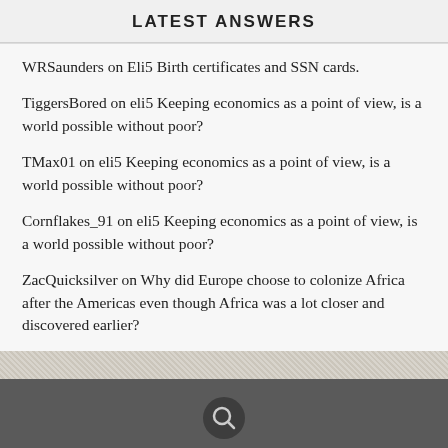LATEST ANSWERS
WRSaunders on Eli5 Birth certificates and SSN cards.
TiggersBored on eli5 Keeping economics as a point of view, is a world possible without poor?
TMax01 on eli5 Keeping economics as a point of view, is a world possible without poor?
Cornflakes_91 on eli5 Keeping economics as a point of view, is a world possible without poor?
ZacQuicksilver on Why did Europe choose to colonize Africa after the Americas even though Africa was a lot closer and discovered earlier?
Copyright © 2022 AnswerCult
Design by ThemesDNA.com